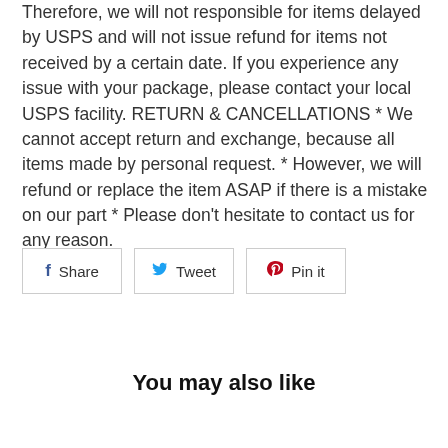Therefore, we will not responsible for items delayed by USPS and will not issue refund for items not received by a certain date. If you experience any issue with your package, please contact your local USPS facility. RETURN & CANCELLATIONS * We cannot accept return and exchange, because all items made by personal request. * However, we will refund or replace the item ASAP if there is a mistake on our part * Please don't hesitate to contact us for any reason.
Share | Tweet | Pin it
You may also like